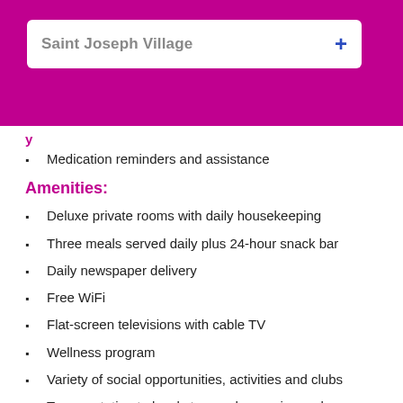Saint Joseph Village
Medication reminders and assistance
Amenities:
Deluxe private rooms with daily housekeeping
Three meals served daily plus 24-hour snack bar
Daily newspaper delivery
Free WiFi
Flat-screen televisions with cable TV
Wellness program
Variety of social opportunities, activities and clubs
Transportation to local stores, pharmacies and more